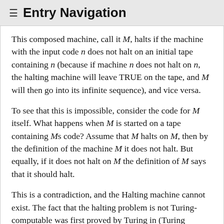≡ Entry Navigation
This composed machine, call it M, halts if the machine with the input code n does not halt on an initial tape containing n (because if machine n does not halt on n, the halting machine will leave TRUE on the tape, and M will then go into its infinite sequence), and vice versa.
To see that this is impossible, consider the code for M itself. What happens when M is started on a tape containing Ms code? Assume that M halts on M, then by the definition of the machine M it does not halt. But equally, if it does not halt on M the definition of M says that it should halt.
This is a contradiction, and the Halting machine cannot exist. The fact that the halting problem is not Turing-computable was first proved by Turing in (Turing 1937b). Of course this result applies to real programs too. There is no computer program which can examine the code for a program and determine whether that program halts.